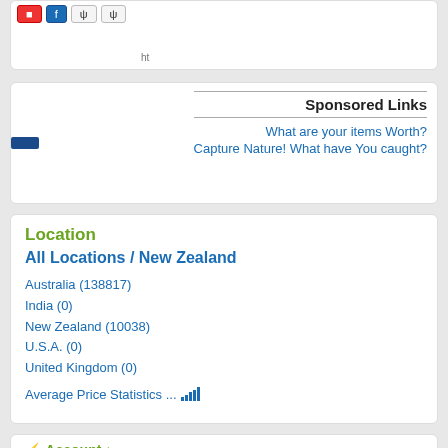[Tab buttons row at top]
Sponsored Links
What are your items Worth?
Capture Nature! What have You caught?
Location
All Locations / New Zealand
Australia (138817)
India (0)
New Zealand (10038)
U.S.A. (0)
United Kingdom (0)
Average Price Statistics ...
Account